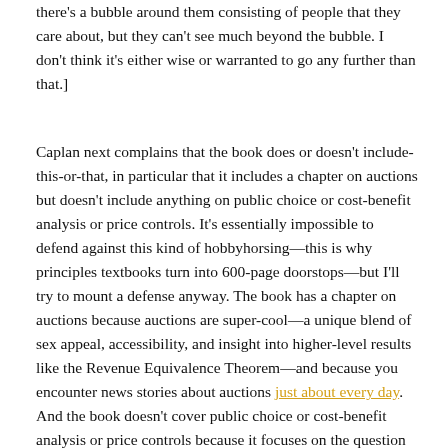there's a bubble around them consisting of people that they care about, but they can't see much beyond the bubble. I don't think it's either wise or warranted to go any further than that.]
Caplan next complains that the book does or doesn't include-this-or-that, in particular that it includes a chapter on auctions but doesn't include anything on public choice or cost-benefit analysis or price controls. It's essentially impossible to defend against this kind of hobbyhorsing—this is why principles textbooks turn into 600-page doorstops—but I'll try to mount a defense anyway. The book has a chapter on auctions because auctions are super-cool—a unique blend of sex appeal, accessibility, and insight into higher-level results like the Revenue Equivalence Theorem—and because you encounter news stories about auctions just about every day. And the book doesn't cover public choice or cost-benefit analysis or price controls because it focuses on the question of Under what